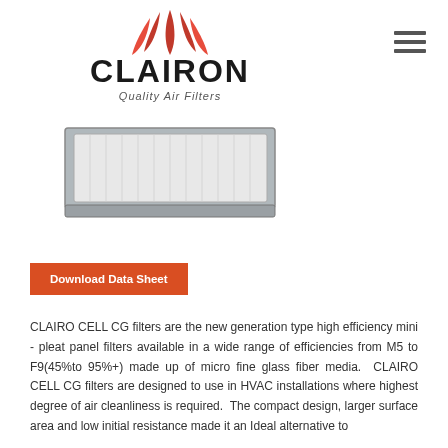[Figure (logo): Clairon Quality Air Filters logo with red leaf/flame design above bold CLAIRON text and tagline 'Quality Air Filters']
[Figure (photo): Product photo of a rectangular mini-pleat panel air filter with gray/silver metal frame, shown at a slight angle]
[Figure (other): Hamburger menu icon (three horizontal lines) in dark gray, top-right corner]
Download Data Sheet
CLAIRO CELL CG filters are the new generation type high efficiency mini - pleat panel filters available in a wide range of efficiencies from M5 to F9(45%to 95%+) made up of micro fine glass fiber media.  CLAIRO CELL CG filters are designed to use in HVAC installations where highest degree of air cleanliness is required.  The compact design, larger surface area and low initial resistance made it an Ideal alternative to